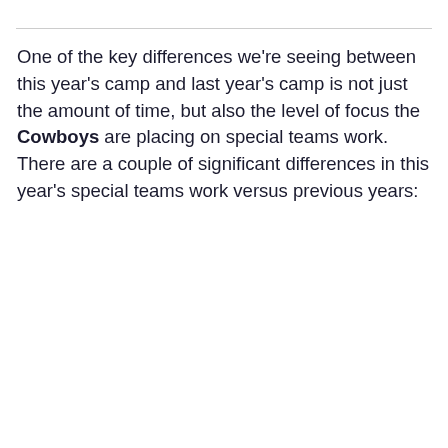One of the key differences we're seeing between this year's camp and last year's camp is not just the amount of time, but also the level of focus the Cowboys are placing on special teams work. There are a couple of significant differences in this year's special teams work versus previous years: